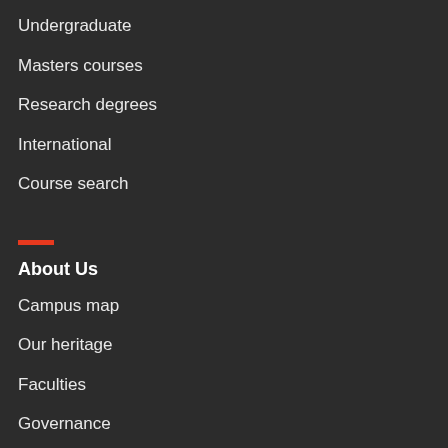Undergraduate
Masters courses
Research degrees
International
Course search
About Us
Campus map
Our heritage
Faculties
Governance
Values and responsibility
Equality